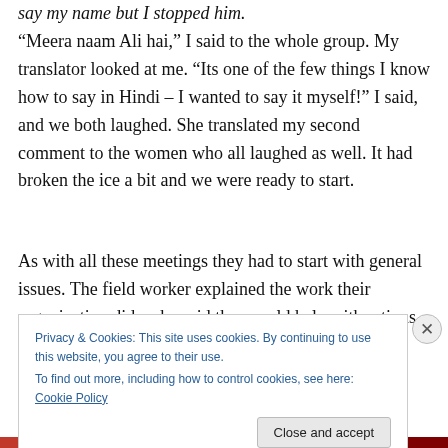say my name but I stopped him.
“Meera naam Ali hai,” I said to the whole group. My translator looked at me. “Its one of the few things I know how to say in Hindi – I wanted to say it myself!” I said, and we both laughed. She translated my second comment to the women who all laughed as well. It had broken the ice a bit and we were ready to start.
As with all these meetings they had to start with general issues. The field worker explained the work their organization did – she said they could help with rations
Privacy & Cookies: This site uses cookies. By continuing to use this website, you agree to their use.
To find out more, including how to control cookies, see here: Cookie Policy